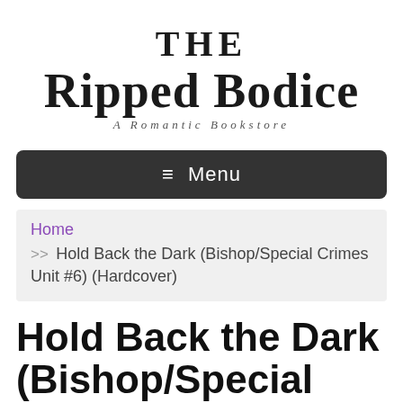The Ripped Bodice
A Romantic Bookstore
≡ Menu
Home >> Hold Back the Dark (Bishop/Special Crimes Unit #6) (Hardcover)
Hold Back the Dark (Bishop/Special Crimes